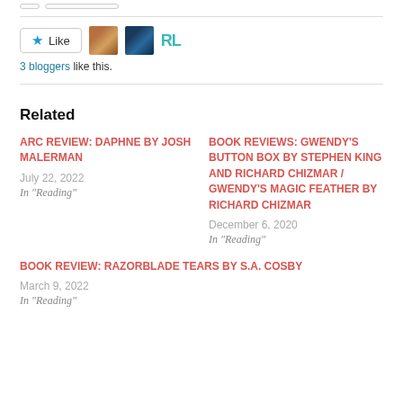[buttons at top]
Like | [avatars] | 3 bloggers like this.
Related
ARC REVIEW: DAPHNE BY JOSH MALERMAN
July 22, 2022
In "Reading"
BOOK REVIEWS: GWENDY'S BUTTON BOX BY STEPHEN KING AND RICHARD CHIZMAR / GWENDY'S MAGIC FEATHER BY RICHARD CHIZMAR
December 6, 2020
In "Reading"
BOOK REVIEW: RAZORBLADE TEARS BY S.A. COSBY
March 9, 2022
In "Reading"